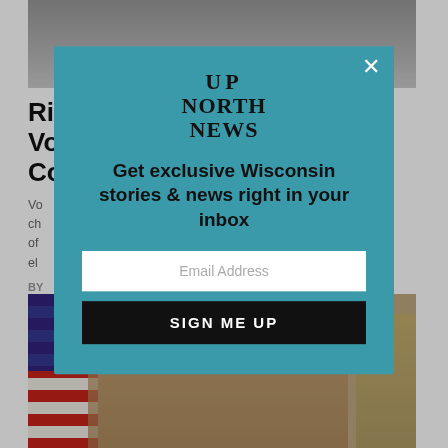[Figure (photo): Grayscale photo at top of page, partially visible background image]
Right to Clean Water Goes to Voters in Two Wisconsin Counties
Vo... ch... of... el...
BY... JA...
IN...
[Figure (photo): Modal popup with Up North News logo and email signup form. Get exclusive Wisconsin stories & news right in your inbox. Email Address field and SIGN ME UP button.]
[Figure (photo): Bottom image showing a woman in front of an American flag]